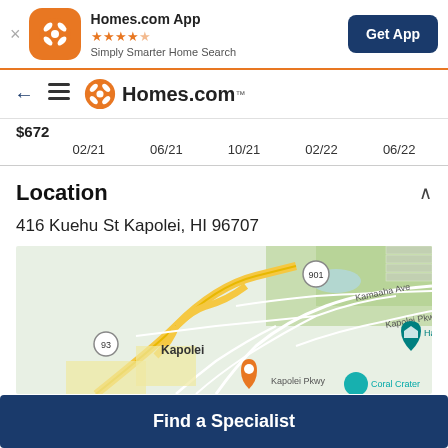[Figure (screenshot): Homes.com app banner with orange icon, star rating, tagline 'Simply Smarter Home Search', and 'Get App' button]
[Figure (logo): Homes.com navigation bar with back arrow, hamburger menu, and Homes.com logo]
$672  02/21  06/21  10/21  02/22  06/22
Location
416 Kuehu St Kapolei, HI 96707
[Figure (map): Google Maps view centered on Kapolei, HI showing highways 93, 901, Kamaaha Ave, Kapolei Pkwy, Coral Crater, Hawaiian location marker, and an orange property pin near Kapolei Pkwy]
Find a Specialist